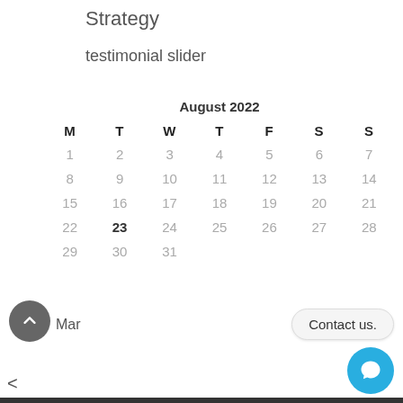Strategy
testimonial slider
| M | T | W | T | F | S | S |
| --- | --- | --- | --- | --- | --- | --- |
| 1 | 2 | 3 | 4 | 5 | 6 | 7 |
| 8 | 9 | 10 | 11 | 12 | 13 | 14 |
| 15 | 16 | 17 | 18 | 19 | 20 | 21 |
| 22 | 23 | 24 | 25 | 26 | 27 | 28 |
| 29 | 30 | 31 |  |  |  |  |
< Mar
Contact us.